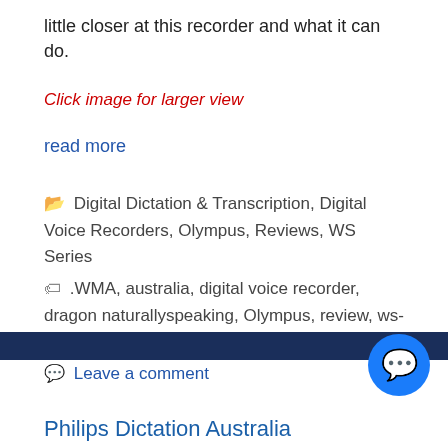little closer at this recorder and what it can do.
Click image for larger view
read more
Digital Dictation & Transcription, Digital Voice Recorders, Olympus, Reviews, WS Series
.WMA, australia, digital voice recorder, dragon naturallyspeaking, Olympus, review, ws-210s, ws210s
Leave a comment
Philips Dictation Australia